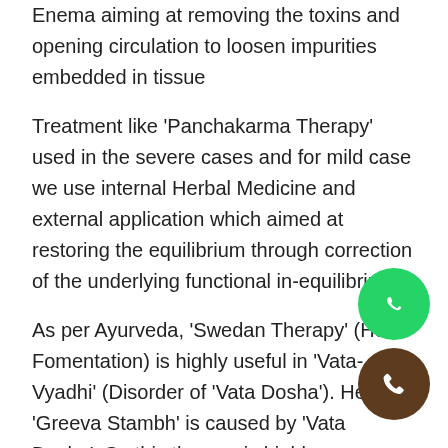Enema aiming at removing the toxins and opening circulation to loosen impurities embedded in tissue
Treatment like 'Panchakarma Therapy' used in the severe cases and for mild case we use internal Herbal Medicine and external application which aimed at restoring the equilibrium through correction of the underlying functional in-equilibrium.
As per Ayurveda, 'Swedan Therapy' (Hot Fomentation) is highly useful in 'Vata-Vyadhi' (Disorder of 'Vata Dosha'). Here 'Greeva Stambh' is caused by 'Vata Dosha', So this therapy is highly recommended.
Useful Herbal like 'Nirgundi' (Vitex Negundo), 'Shallaki' (Boswellia Serrata), 'Guggul' (Commiphora Mukul), 'Shunthi' (Dry Ginger Powder), 'Giloy'(Tinospora Cordifolia), 'Ashwagandha'(Withania Somnifera).